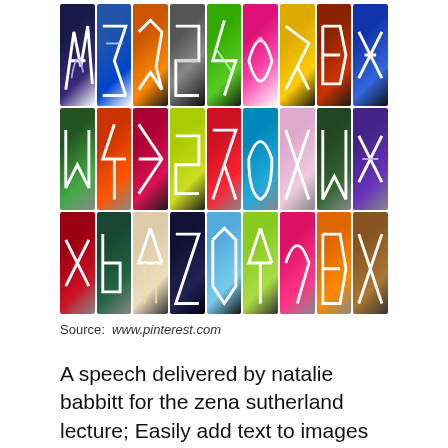[Figure (illustration): A grid of 27 graffiti-style letter panels arranged in 3 rows of 9, each panel showing an abstract graffiti letter on a dark background in various bright colors including blue, orange, gray, green, pink, yellow, red, teal, purple, and brown.]
Source:  www.pinterest.com
A speech delivered by natalie babbitt for the zena sutherland lecture; Easily add text to images or memes.